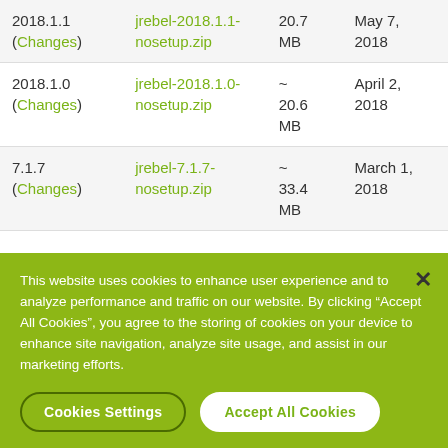| Version | File | Size | Date |
| --- | --- | --- | --- |
| 2018.1.1 (Changes) | jrebel-2018.1.1-nosetup.zip | ~ 20.7 MB | May 7, 2018 |
| 2018.1.0 (Changes) | jrebel-2018.1.0-nosetup.zip | ~ 20.6 MB | April 2, 2018 |
| 7.1.7 (Changes) | jrebel-7.1.7-nosetup.zip | ~ 33.4 MB | March 1, 2018 |
This website uses cookies to enhance user experience and to analyze performance and traffic on our website. By clicking “Accept All Cookies”, you agree to the storing of cookies on your device to enhance site navigation, analyze site usage, and assist in our marketing efforts.